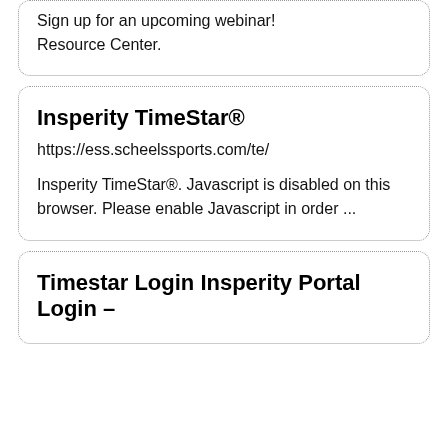Sign up for an upcoming webinar! Resource Center.
Insperity TimeStar®
https://ess.scheelssports.com/te/
Insperity TimeStar®. Javascript is disabled on this browser. Please enable Javascript in order ...
Timestar Login Insperity Portal Login –